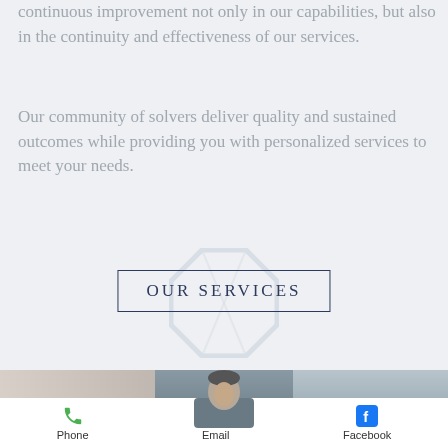continuous improvement not only in our capabilities, but also in the continuity and effectiveness of our services.
Our community of solvers deliver quality and sustained outcomes while providing you with personalized services to meet your needs.
OUR SERVICES
[Figure (photo): Photo strip showing people in a business/office setting, with a man facing the camera in the center]
Phone  Email  Facebook